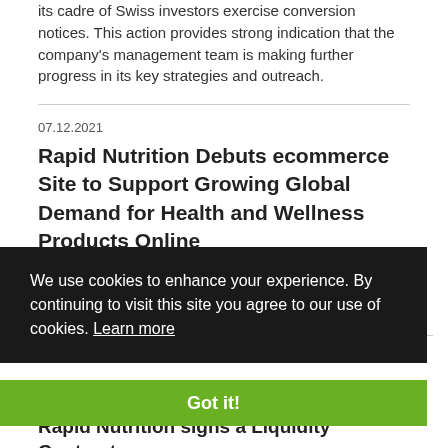its cadre of Swiss investors exercise conversion notices. This action provides strong indication that the company's management team is making further progress in its key strategies and outreach.
07.12.2021
Rapid Nutrition Debuts ecommerce Site to Support Growing Global Demand for Health and Wellness Products Online
We use cookies to enhance your experience. By continuing to visit this site you agree to our use of cookies. Learn more
Got it!
Rapid Nutrition signs a Liquidity Contract